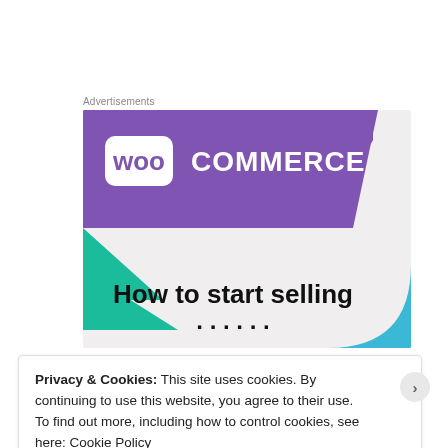Advertisements
[Figure (screenshot): WooCommerce advertisement banner showing the WooCommerce logo on a purple background with green and blue geometric shapes, and text 'How to start selling' on a light grey background.]
Privacy & Cookies: This site uses cookies. By continuing to use this website, you agree to their use.
To find out more, including how to control cookies, see here: Cookie Policy
Close and accept